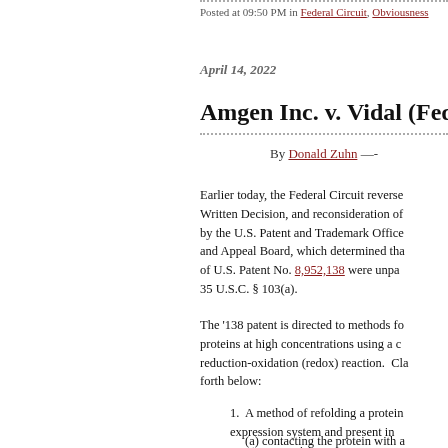Posted at 09:50 PM in Federal Circuit, Obviousness
April 14, 2022
Amgen Inc. v. Vidal (Fed. C…
By Donald Zuhn —-
Earlier today, the Federal Circuit reversed the Written Decision, and reconsideration of by the U.S. Patent and Trademark Office and Appeal Board, which determined that of U.S. Patent No. 8,952,138 were unpatentable under 35 U.S.C. § 103(a).
The '138 patent is directed to methods for proteins at high concentrations using a reduction-oxidation (redox) reaction. Claim forth below:
1.  A method of refolding a protein expression system and present in greater comprising:
(a) contacting the protein with a